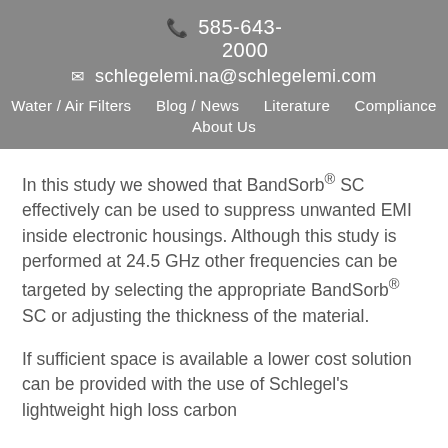585-643-2000
schlegelemi.na@schlegelemi.com
Water / Air Filters  Blog / News  Literature  Compliance  About Us
In this study we showed that BandSorb® SC effectively can be used to suppress unwanted EMI inside electronic housings. Although this study is performed at 24.5 GHz other frequencies can be targeted by selecting the appropriate BandSorb® SC or adjusting the thickness of the material.
If sufficient space is available a lower cost solution can be provided with the use of Schlegel's lightweight high loss carbon